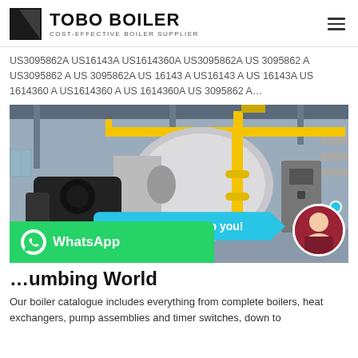TOBO BOILER – COST-EFFECTIVE BOILER SUPPLIER
US3095862A US16143A US1614360A US3095862A US 3095862 A US3095862 A US 3095862A US 16143 A US16143 A US 16143A US 1614360 A US1614360 A US 1614360A US 3095862 A…
[Figure (photo): Industrial boiler equipment in a factory setting, with large cylindrical boiler, yellow gas pipes, black burner assembly. Overlaid with a chat bubble saying 'Hey, let me help you!' and a customer service avatar. WhatsApp button in the bottom-left corner.]
…umbing World
Our boiler catalogue includes everything from complete boilers, heat exchangers, pump assemblies and timer switches, down to